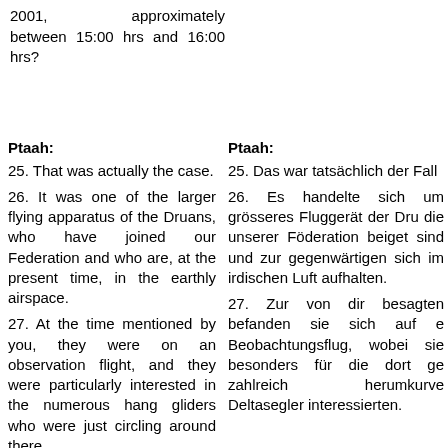2001, approximately between 15:00 hrs and 16:00 hrs?
Ptaah: 25. That was actually the case. 26. It was one of the larger flying apparatus of the Druans, who have joined our Federation and who are, at the present time, in the earthly airspace. 27. At the time mentioned by you, they were on an observation flight, and they were particularly interested in the numerous hang gliders who were just circling around there.
Ptaah: 25. Das war tatsächlich der Fall. 26. Es handelte sich um grösseres Fluggerät der Dru die unserer Föderation beiget sind und zur gegenwärtigen sich im irdischen Luft aufhalten. 27. Zur von dir besagten befanden sie sich auf e Beobachtungsflug, wobei sie besonders für die dort ge zahlreich herumkurve Deltasegler interessierten.